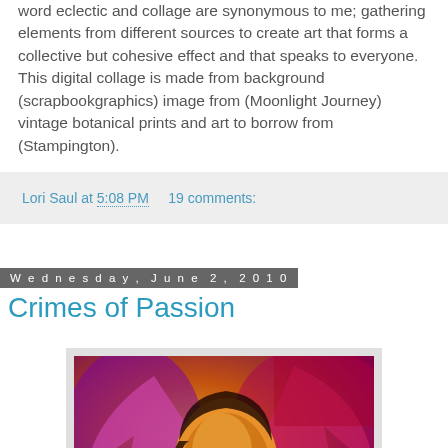word eclectic and collage are synonymous to me; gathering elements from different sources to create art that forms a collective but cohesive effect and that speaks to everyone. This digital collage is made from background (scrapbookgraphics) image from (Moonlight Journey) vintage botanical prints and art to borrow from (Stampington).
Lori Saul at 5:08 PM   19 comments:
Wednesday, June 2, 2010
Crimes of Passion
[Figure (illustration): Colorful digital collage artwork showing a woman's face with angel wings in vibrant orange, purple, red and yellow hues with vintage text elements in the background]